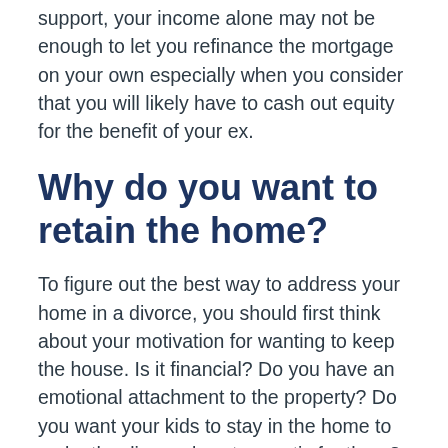support, your income alone may not be enough to let you refinance the mortgage on your own especially when you consider that you will likely have to cash out equity for the benefit of your ex.
Why do you want to retain the home?
To figure out the best way to address your home in a divorce, you should first think about your motivation for wanting to keep the house. Is it financial? Do you have an emotional attachment to the property? Do you want your kids to stay in the home to make the divorce less traumatic for them?
Exploring both your current financial